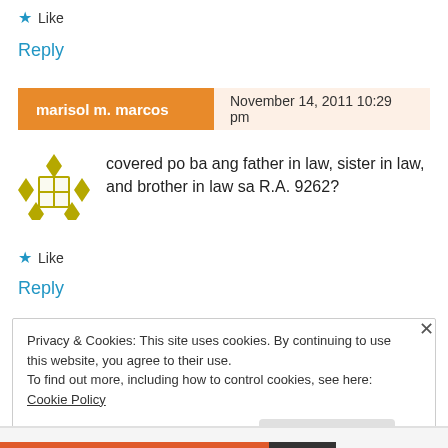★ Like
Reply
marisol m. marcos   November 14, 2011 10:29 pm
covered po ba ang father in law, sister in law, and brother in law sa R.A. 9262?
★ Like
Reply
Privacy & Cookies: This site uses cookies. By continuing to use this website, you agree to their use. To find out more, including how to control cookies, see here: Cookie Policy
Close and accept